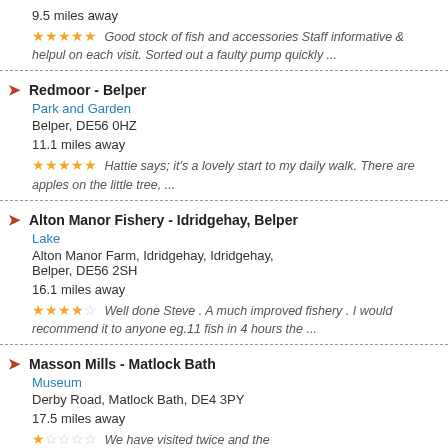9.5 miles away
★★★★★ Good stock of fish and accessories Staff informative & helpul on each visit. Sorted out a faulty pump quickly ...
Redmoor - Belper | Park and Garden | Belper, DE56 0HZ | 11.1 miles away | ★★★★★ Hattie says; it's a lovely start to my daily walk. There are apples on the little tree, ...
Alton Manor Fishery - Idridgehay, Belper | Lake | Alton Manor Farm, Idridgehay, Idridgehay, Belper, DE56 2SH | 16.1 miles away | ★★★★☆ Well done Steve . A much improved fishery . I would recommend it to anyone eg.11 fish in 4 hours the ...
Masson Mills - Matlock Bath | Museum | Derby Road, Matlock Bath, DE4 3PY | 17.5 miles away | ★☆☆☆☆ We have visited twice and the